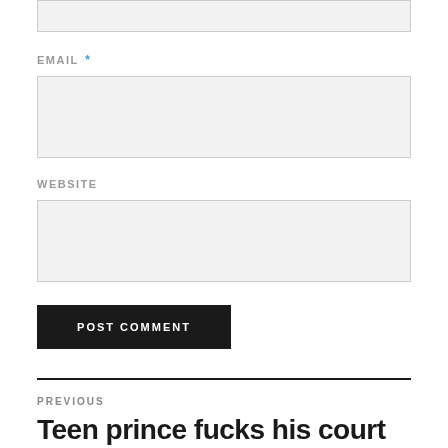[Figure (screenshot): Top of a partially visible text input box (comment form field)]
EMAIL *
[Figure (screenshot): Email input field (light grey background, bordered)]
WEBSITE
[Figure (screenshot): Website input field (light grey background, bordered)]
POST COMMENT
PREVIOUS
Teen prince fucks his court